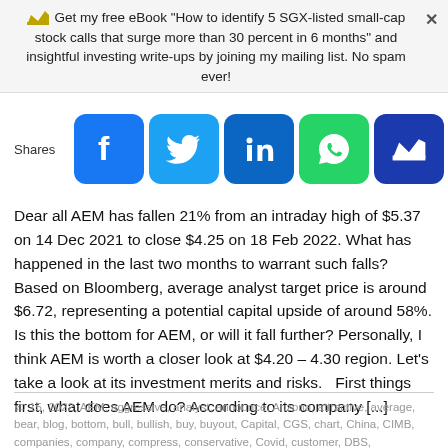Get my free eBook "How to identify 5 SGX-listed small-cap stock calls that surge more than 30 percent in 6 months" and insightful investing write-ups by joining my mailing list. No spam ever!
[Figure (infographic): Social sharing buttons row: Facebook (blue), Twitter (light blue), LinkedIn (dark blue), WhatsApp (green), and a crown/newsletter button (dark blue). Label 'Shares' on the left.]
Dear all AEM has fallen 21% from an intraday high of $5.37 on 14 Dec 2021 to close $4.25 on 18 Feb 2022. What has happened in the last two months to warrant such falls? Based on Bloomberg, average analyst target price is around $6.72, representing a potential capital upside of around 58%. Is this the bottom for AEM, or will it fall further? Personally, I think AEM is worth a closer look at $4.20 – 4.30 region. Let's take a look at its investment merits and risks.   First things first, what does AEM do? According to its company [...]
15, 2022, AEM, aggressive, analyst, announce, Arizona, attractive, average, bear, blog, bottom, bull, bullish, buy, buyout, Capital, CGS, chart, China, CIMB, companies, company, compress, conservative, Covid, customer, DBS,